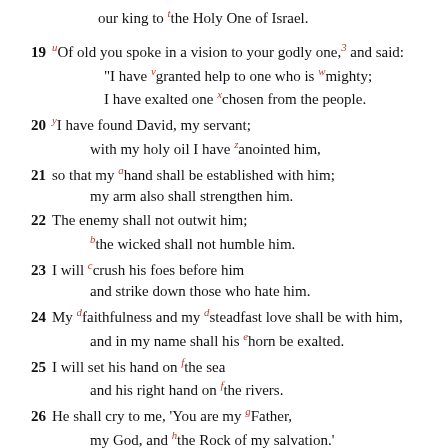our king to the Holy One of Israel.
19 Of old you spoke in a vision to your godly one,3 and said:
"I have v granted help to one who is w mighty;
I have exalted one x chosen from the people.
20 y I have found David, my servant;
with my holy oil I have z anointed him,
21 so that my a hand shall be established with him;
my arm also shall strengthen him.
22 The enemy shall not outwit him;
b the wicked shall not humble him.
23 I will c crush his foes before him
and strike down those who hate him.
24 My d faithfulness and my d steadfast love shall be with him,
and in my name shall his e horn be exalted.
25 I will set his hand on f the sea
and his right hand on f the rivers.
26 He shall cry to me, 'You are my g Father,
my God, and h the Rock of my salvation.'